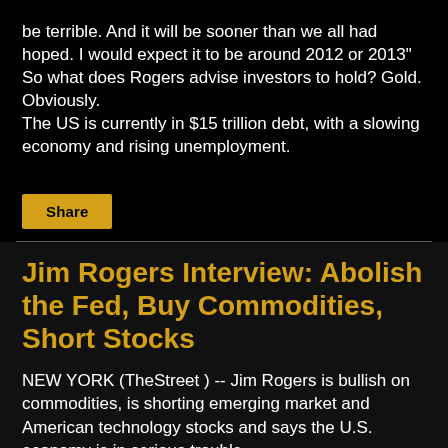be terrible. And it will be sooner than we all had hoped. I would expect it to be around 2012 or 2013"
So what does Rogers advise investors to hold? Gold. Obviously.
The US is currently in $15 trillion debt, with a slowing economy and rising unemployment.
Share
Jim Rogers Interview: Abolish the Fed, Buy Commodities, Short Stocks
NEW YORK (TheStreet ) -- Jim Rogers is bullish on commodities, is shorting emerging market and American technology stocks and says the U.S. economy is in serious trouble.
Rogers is chairman of Rogers Holdings and has traveled...